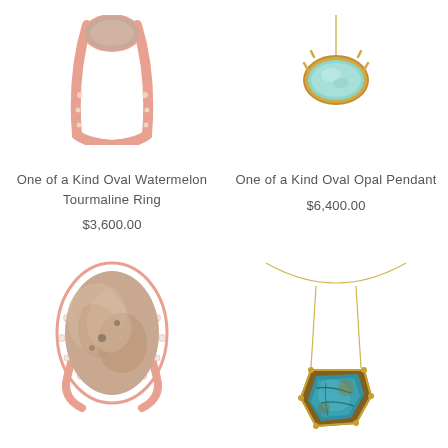[Figure (photo): Rose gold ring with watermelon tourmaline stone, partially cropped at top]
One of a Kind Oval Watermelon Tourmaline Ring
$3,600.00
[Figure (photo): Gold pendant necklace with oval opal stone, partially cropped at top]
One of a Kind Oval Opal Pendant
$6,400.00
[Figure (photo): Rose gold ring with large oval multicolored stone with diamond halo]
[Figure (photo): Gold necklace with turquoise irregular shaped pendant on delicate chain]